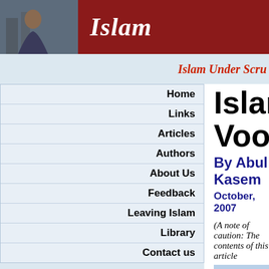Islam
Islam Under Scru...
Islamic Voodo
By Abul Kasem
October, 2007
Home
Links
Articles
Authors
About Us
Feedback
Leaving Islam
Library
Contact us
(A note of caution: The contents of this article
Abstract
This article probes into the traditions, custo and rites of Islam, which are largely ba Bedouins' society of Muhammad's time. In a these Islamic customs and traditions are n superstitious beliefs and irrational acts, bot